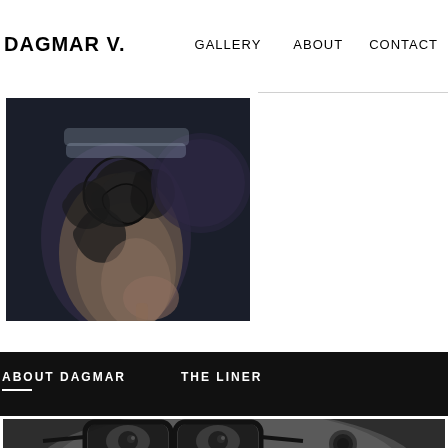DAGMAR V.  GALLERY  ABOUT  CONTACT
[Figure (photo): Close-up photograph of a tattooed forearm and hand with detailed black ink tattoo artwork featuring swirling ornamental designs, photographed against a dark background]
ABOUT DAGMAR  THE LINER
[Figure (photo): Black and white close-up portrait photograph of a person wearing thick-framed black glasses and ear gauges, cropped to show eyes and nose area]